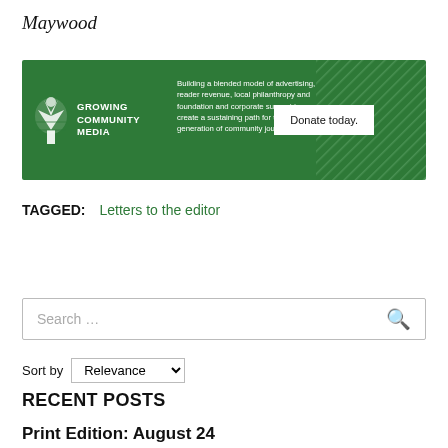Maywood
[Figure (infographic): Growing Community Media banner advertisement with green background, logo, tagline about blended model of advertising, reader revenue, local philanthropy and foundation and corporate support to create a sustaining path for the next generation of community journalism, and a Donate today button.]
TAGGED: Letters to the editor
Search …
Sort by Relevance
RECENT POSTS
Print Edition: August 24